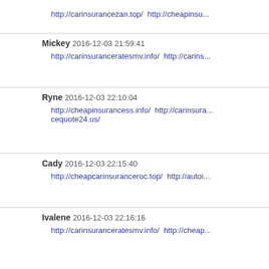http://carinsurancezan.top/  http://cheapinsu...
Mickey 2016-12-03 21:59:41
http://carinsuranceratesmv.info/  http://carins...
Ryne 2016-12-03 22:10:04
http://cheapinsurancess.info/  http://carinsura... cequote24.us/
Cady 2016-12-03 22:15:40
http://cheapcarinsuranceroc.top/  http://autoi...
Ivalene 2016-12-03 22:16:16
http://carinsuranceratesmv.info/  http://cheap...
Victory 2016-12-03 22:19:01
http://autoinsurancequotesnoz.us/  http://cari...
Charl 2016-12-03 22:38:32
http://cheapcarinsuranceroc.top/  http://chea...